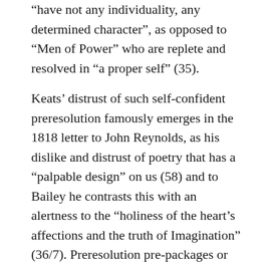“have not any individuality, any determined character”, as opposed to “Men of Power” who are replete and resolved in “a proper self” (35).
Keats’ distrust of such self-confident preresolution famously emerges in the 1818 letter to John Reynolds, as his dislike and distrust of poetry that has a “palpable design” on us (58) and to Bailey he contrasts this with an alertness to the “holiness of the heart’s affections and the truth of Imagination” (36/7). Preresolution pre-packages or pre-limits our emotional and spiritual life, whereas Keats is intent on welcoming “all”. This is what he means in the phrase “a Life of Sensations”, the latter word (rather misleadingly) encompassing